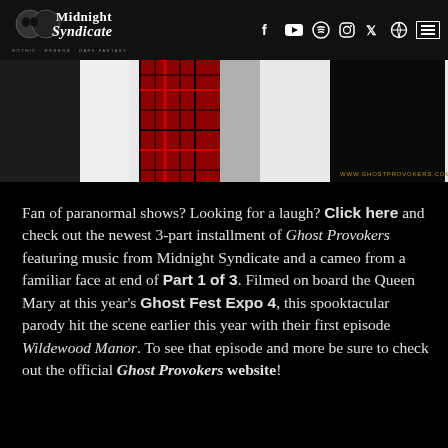Midnight Syndicate — navigation bar with logo and social icons
[Figure (photo): Photo of two people, one wearing a red plaid shirt/jacket, one in dark clothing, against a white background. Watermark: WWW.GHOSTPROVOKERS.COM]
Fan of paranormal shows? Looking for a laugh? Click here and check out the newest 3-part installment of Ghost Provokers featuring music from Midnight Syndicate and a cameo from a familiar face at end of Part 1 of 3. Filmed on board the Queen Mary at this year's Ghost Fest Expo 4, this spooktacular parody hit the scene earlier this year with their first episode Wildewood Manor. To see that episode and more be sure to check out the official Ghost Provokers website!